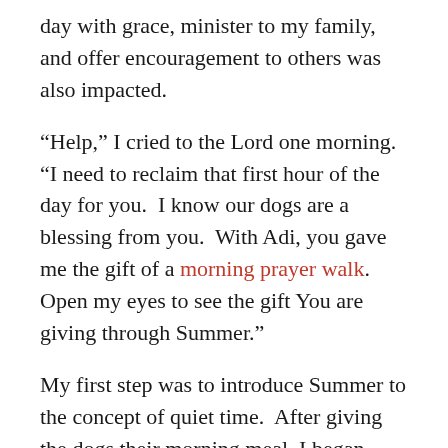day with grace, minister to my family, and offer encouragement to others was also impacted.
“Help,” I cried to the Lord one morning. “I need to reclaim that first hour of the day for you. I know our dogs are a blessing from you. With Adi, you gave me the gift of a morning prayer walk. Open my eyes to see the gift You are giving through Summer.”
My first step was to introduce Summer to the concept of quiet time. After giving the dogs their morning meal, I began sitting on the area rug in the living room. Adi joins me first and curls up for a nap. Summer joins us a few minutes later. Once I have her settled on my other side with a chew toy, I can allow my non-morning